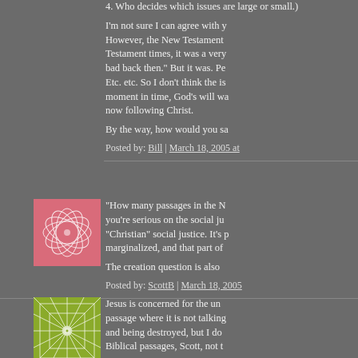4. Who decides which issues are large or small.)
I'm not sure I can agree with y... However, the New Testament... Testament times, it was a very... bad back then." But it was. Pe... Etc. etc. So I don't think the is... moment in time, God's will wa... now following Christ.
By the way, how would you sa...
Posted by: Bill | March 18, 2005 at...
[Figure (illustration): Pink/red abstract floral pattern avatar square]
"How many passages in the N... you're serious on the social ju... "Christian" social justice. It's p... marginalized, and that part of...
The creation question is also...
Posted by: ScottB | March 18, 2005...
[Figure (illustration): Green geometric star/snowflake pattern avatar square]
Jesus is concerned for the un... passage where it is not talking... and being destroyed, but I do... Biblical passages, Scott, not t...